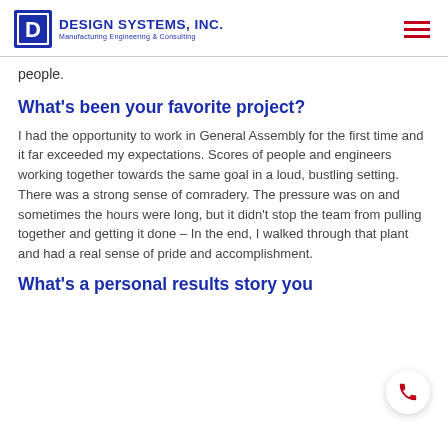Design Systems, Inc. — Manufacturing Engineering & Consulting
people.
What's been your favorite project?
I had the opportunity to work in General Assembly for the first time and it far exceeded my expectations. Scores of people and engineers working together towards the same goal in a loud, bustling setting. There was a strong sense of comradery. The pressure was on and sometimes the hours were long, but it didn't stop the team from pulling together and getting it done – In the end, I walked through that plant and had a real sense of pride and accomplishment.
What's a personal results story you